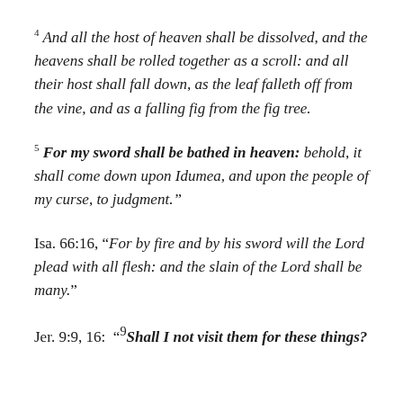4 And all the host of heaven shall be dissolved, and the heavens shall be rolled together as a scroll: and all their host shall fall down, as the leaf falleth off from the vine, and as a falling fig from the fig tree.
5 For my sword shall be bathed in heaven: behold, it shall come down upon Idumea, and upon the people of my curse, to judgment.”
Isa. 66:16, “For by fire and by his sword will the Lord plead with all flesh: and the slain of the Lord shall be many.”
Jer. 9:9, 16: “9Shall I not visit them for these things?